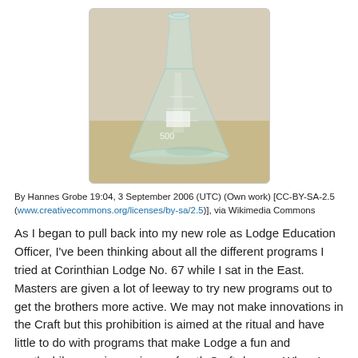[Figure (photo): A 500mL Erlenmeyer (conical) glass flask sitting on a wooden surface, photographed from the front. The flask is transparent glass with measurement markings visible.]
By Hannes Grobe 19:04, 3 September 2006 (UTC) (Own work) [CC-BY-SA-2.5 (www.creativecommons.org/licenses/by-sa/2.5)], via Wikimedia Commons
As I began to pull back into my new role as Lodge Education Officer, I've been thinking about all the different programs I tried at Corinthian Lodge No. 67 while I sat in the East. Masters are given a lot of leeway to try new programs out to get the brothers more active. We may not make innovations in the Craft but this prohibition is aimed at the ritual and have little to do with programs that make Lodge a fun and worthwhile experience, i.e. no fourth Craft degree. When I